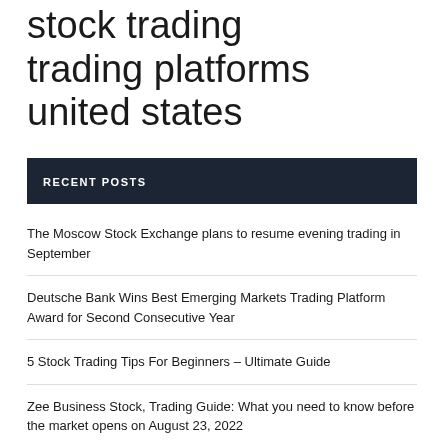stock trading trading platforms united states
RECENT POSTS
The Moscow Stock Exchange plans to resume evening trading in September
Deutsche Bank Wins Best Emerging Markets Trading Platform Award for Second Consecutive Year
5 Stock Trading Tips For Beginners – Ultimate Guide
Zee Business Stock, Trading Guide: What you need to know before the market opens on August 23, 2022